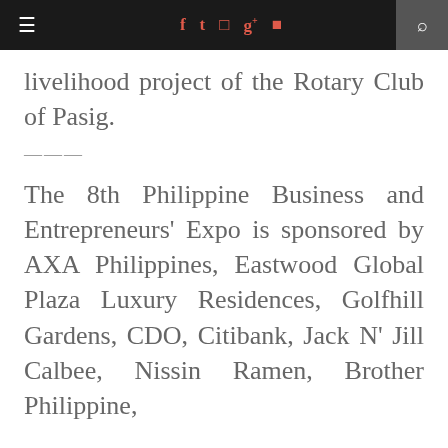≡ [navigation icons: facebook, twitter, instagram, google+, youtube] [search]
livelihood project of the Rotary Club of Pasig.
—-—
The 8th Philippine Business and Entrepreneurs' Expo is sponsored by AXA Philippines, Eastwood Global Plaza Luxury Residences, Golfhill Gardens, CDO, Citibank, Jack N' Jill Calbee, Nissin Ramen, Brother Philippine,